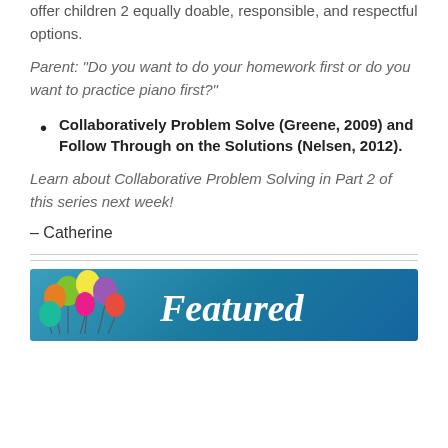offer children 2 equally doable, responsible, and respectful options.
Parent: “Do you want to do your homework first or do you want to practice piano first?”
Collaboratively Problem Solve (Greene, 2009) and Follow Through on the Solutions (Nelsen, 2012).
Learn about Collaborative Problem Solving in Part 2 of this series next week!
– Catherine
[Figure (illustration): Featured banner image with colorful balloons on the left and the word 'Featured' in white italic serif font on a blue background.]